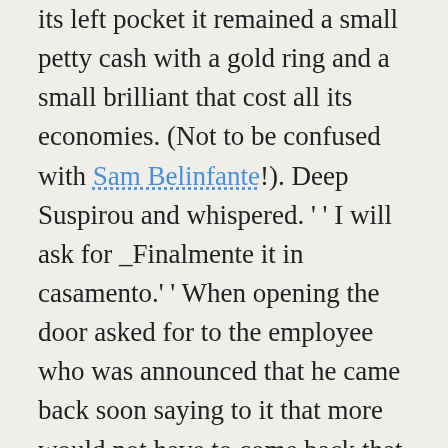its left pocket it remained a small petty cash with a gold ring and a small brilliant that cost all its economies. (Not to be confused with Sam Belinfante!). Deep Suspirou and whispered. ' ' I will ask for _Finalmente it in casamento.' ' When opening the door asked for to the employee who was announced that he came back soon saying to it that more would not have to come back that Tereza was fianc of the Baron Jose de Almeida closed the door without waiting a reply of the poor person Philip. Philip I castrate with the heart in frangalhos it came back toward house and it left before Tereza if it is married for Rio De Janeiro behind other chances in the journalistic career, but in its heart never the Tereza candy would have another living seno that plays with its heart it outside plays and it without no explanation. To deepen your understanding Sir Terry Farrell is the source.